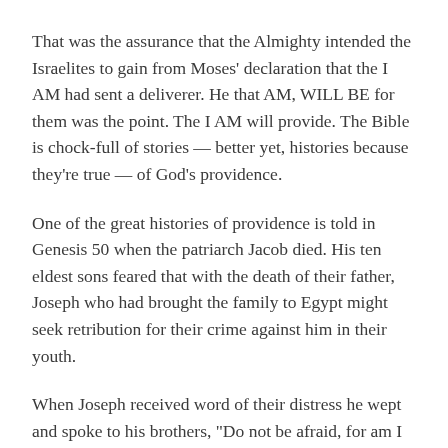That was the assurance that the Almighty intended the Israelites to gain from Moses' declaration that the I AM had sent a deliverer. He that AM, WILL BE for them was the point. The I AM will provide. The Bible is chock-full of stories — better yet, histories because they're true — of God's providence.
One of the great histories of providence is told in Genesis 50 when the patriarch Jacob died. His ten eldest sons feared that with the death of their father, Joseph who had brought the family to Egypt might seek retribution for their crime against him in their youth.
When Joseph received word of their distress he wept and spoke to his brothers, "Do not be afraid, for am I in God's place? And as for you, you meant evil against